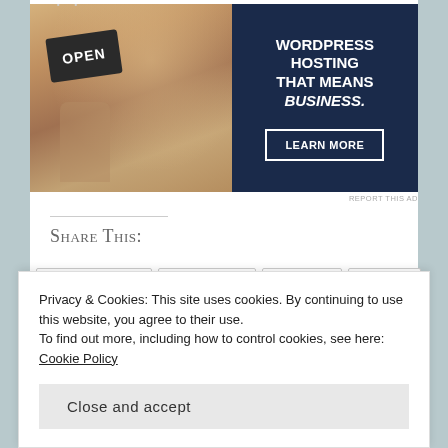[Figure (photo): Advertisement banner: left half shows a smiling woman holding an 'OPEN' sign, right half is dark navy background with text 'WORDPRESS HOSTING THAT MEANS BUSINESS.' and a 'LEARN MORE' button]
REPORT THIS AD
Share This:
Pinterest 2
Facebook
Twitter
Email
Print
Privacy & Cookies: This site uses cookies. By continuing to use this website, you agree to their use.
To find out more, including how to control cookies, see here: Cookie Policy
Close and accept